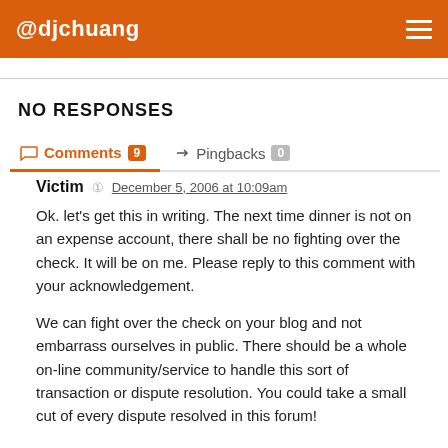@djchuang
NO RESPONSES
Comments 9   Pingbacks 0
Victim   December 5, 2006 at 10:09am

Ok. let's get this in writing. The next time dinner is not on an expense account, there shall be no fighting over the check. It will be on me. Please reply to this comment with your acknowledgement.

We can fight over the check on your blog and not embarrass ourselves in public. There should be a whole on-line community/service to handle this sort of transaction or dispute resolution. You could take a small cut of every dispute resolved in this forum!